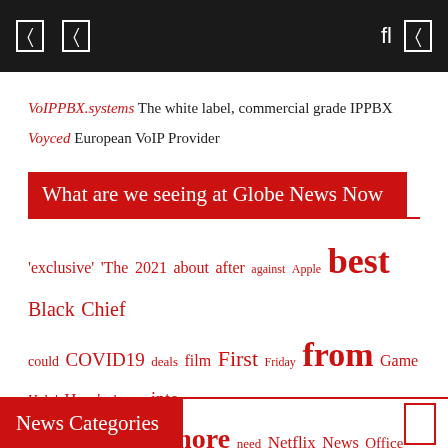Navigation bar with icons
VoIPPBX.systems The white label, commercial grade IPPBX
Voyced European VoIP Provider
What are we seeing at Globe News Now
[Figure (infographic): Word cloud with trending words in red varying font sizes: 'exclusive' 'The 2021 about after against Apple best Black Chief could COVID19 deals film First Friday from Game Help' Here's home into it's just Live Million more need Netflix News Office over review sale Save Says Season series Star things this TIME Watch' World 'These]
News Categories